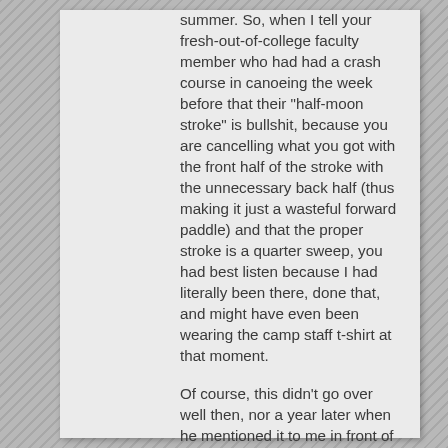summer. So, when I tell your fresh-out-of-college faculty member who had had a crash course in canoeing the week before that their "half-moon stroke" is bullshit, because you are cancelling what you got with the front half of the stroke with the unnecessary back half (thus making it just a wasteful forward paddle) and that the proper stroke is a quarter sweep, you had best listen because I had literally been there, done that, and might have even been wearing the camp staff t-shirt at that moment.
Of course, this didn't go over well then, nor a year later when he mentioned it to me in front of faculty, so I drew it out on a piece of